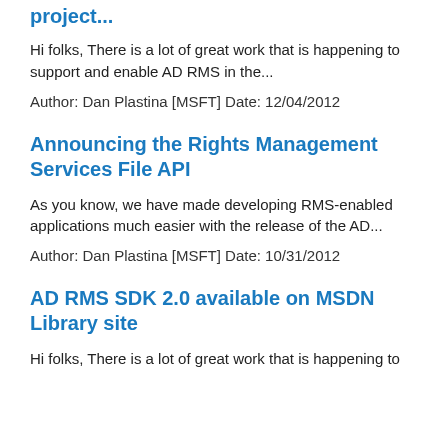project...
Hi folks, There is a lot of great work that is happening to support and enable AD RMS in the...
Author: Dan Plastina [MSFT] Date: 12/04/2012
Announcing the Rights Management Services File API
As you know, we have made developing RMS-enabled applications much easier with the release of the AD...
Author: Dan Plastina [MSFT] Date: 10/31/2012
AD RMS SDK 2.0 available on MSDN Library site
Hi folks, There is a lot of great work that is happening to